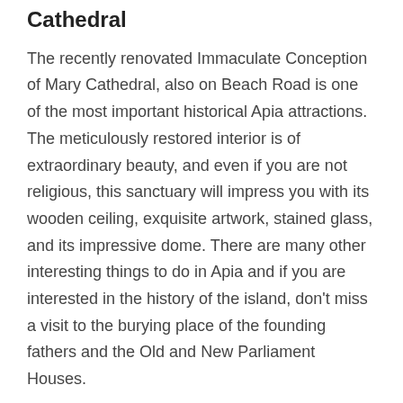Cathedral
The recently renovated Immaculate Conception of Mary Cathedral, also on Beach Road is one of the most important historical Apia attractions. The meticulously restored interior is of extraordinary beauty, and even if you are not religious, this sanctuary will impress you with its wooden ceiling, exquisite artwork, stained glass, and its impressive dome. There are many other interesting things to do in Apia and if you are interested in the history of the island, don't miss a visit to the burying place of the founding fathers and the Old and New Parliament Houses.
The Palolo Deep Marine Reserve
The Palolo Deep Marine Reserve is a short five-minute walk from the town, between the harbor and Vaiala Beach and is one of most spectacular things to do in Apia, Samoa. It is a magnificent stretch of the shallow reef with an incredible,